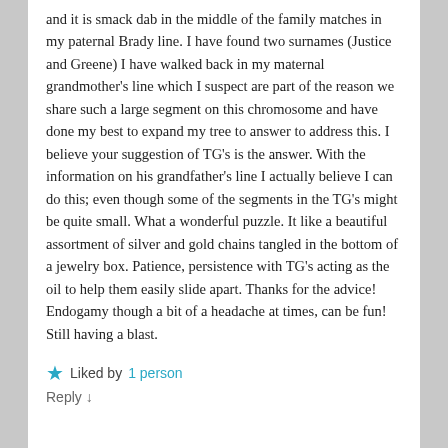and it is smack dab in the middle of the family matches in my paternal Brady line. I have found two surnames (Justice and Greene) I have walked back in my maternal grandmother's line which I suspect are part of the reason we share such a large segment on this chromosome and have done my best to expand my tree to answer to address this. I believe your suggestion of TG's is the answer. With the information on his grandfather's line I actually believe I can do this; even though some of the segments in the TG's might be quite small. What a wonderful puzzle. It like a beautiful assortment of silver and gold chains tangled in the bottom of a jewelry box. Patience, persistence with TG's acting as the oil to help them easily slide apart. Thanks for the advice! Endogamy though a bit of a headache at times, can be fun! Still having a blast.
★ Liked by 1 person
Reply ↓